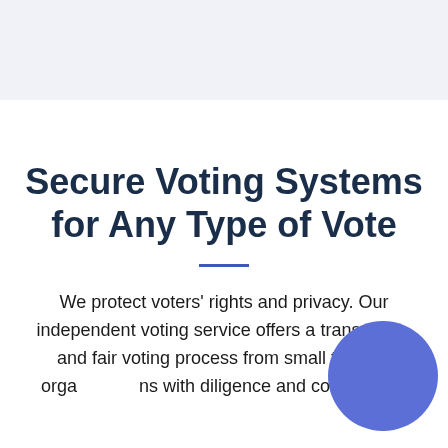Secure Voting Systems for Any Type of Vote
We protect voters' rights and privacy. Our independent voting service offers a transparent and fair voting process from small to large organizations with diligence and compliance.